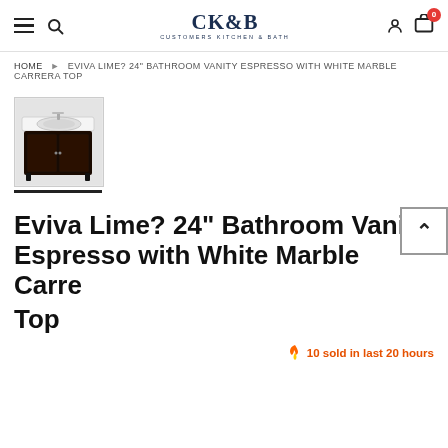CK&B Customers Kitchen & Bath — navigation header with hamburger menu, search, logo, user icon, cart (0)
HOME ▶ EVIVA LIME? 24" BATHROOM VANITY ESPRESSO WITH WHITE MARBLE CARRERA TOP
[Figure (photo): Thumbnail photo of Eviva Lime 24 inch bathroom vanity in espresso finish with white marble Carrera top, showing sink and faucet from top-front angle]
Eviva Lime? 24" Bathroom Vanity Espresso with White Marble Carrera Top
🔥 10 sold in last 20 hours